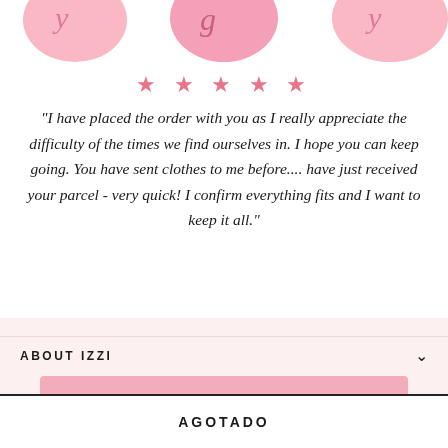[Figure (illustration): Three pink blob/rounded-square shapes with cursive script on them, cropped at top of page]
★ ★ ★ ★ ★
"I have placed the order with you as I really appreciate the difficulty of the times we find ourselves in. I hope you can keep going. You have sent clothes to me before.... have just received your parcel - very quick! I confirm everything fits and I want to keep it all."
— Jane, Guernsey
ABOUT IZZI
AGOTADO